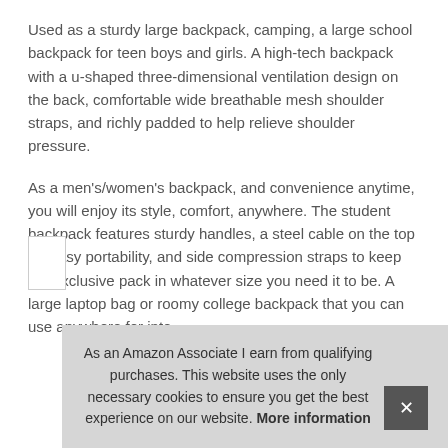Used as a sturdy large backpack, camping, a large school backpack for teen boys and girls. A high-tech backpack with a u-shaped three-dimensional ventilation design on the back, comfortable wide breathable mesh shoulder straps, and richly padded to help relieve shoulder pressure.
As a men's/women's backpack, and convenience anytime, you will enjoy its style, comfort, anywhere. The student backpack features sturdy handles, a steel cable on the top for easy portability, and side compression straps to keep the exclusive pack in whatever size you need it to be. A large laptop bag or roomy college backpack that you can use anywhere for inte
As an Amazon Associate I earn from qualifying purchases. This website uses the only necessary cookies to ensure you get the best experience on our website. More information